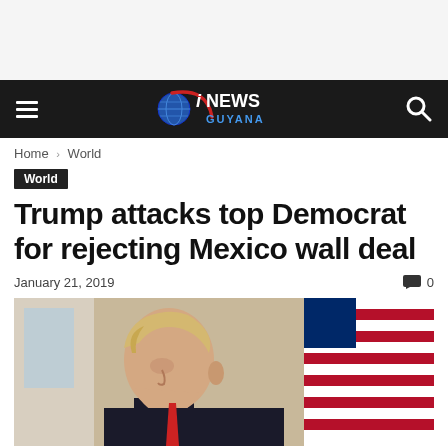[Figure (logo): iNews Guyana logo with globe and red swoosh on dark navigation bar]
Home › World
World
Trump attacks top Democrat for rejecting Mexico wall deal
January 21, 2019    💬 0
[Figure (photo): Photo of Donald Trump in side profile, wearing a dark suit, with an American flag in the background]